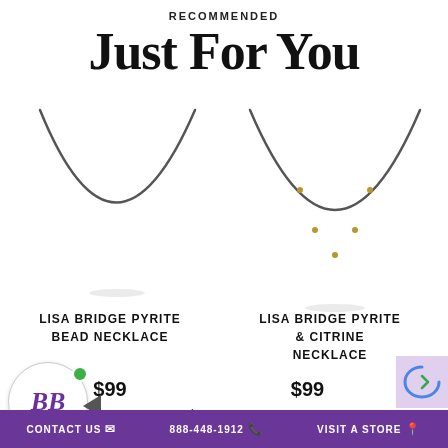RECOMMENDED
Just For You
[Figure (photo): Lisa Bridge Pyrite Bead Necklace product photo showing a thin dark beaded necklace forming an arch/U shape on white background]
[Figure (photo): Lisa Bridge Pyrite & Citrine Necklace product photo showing a thin dark beaded necklace with gold accent beads forming an arch/U shape on white background]
LISA BRIDGE PYRITE BEAD NECKLACE
LISA BRIDGE PYRITE & CITRINE NECKLACE
$99
$99
Previous
Next
CONTACT US  888-448-1912  VISIT A STORE